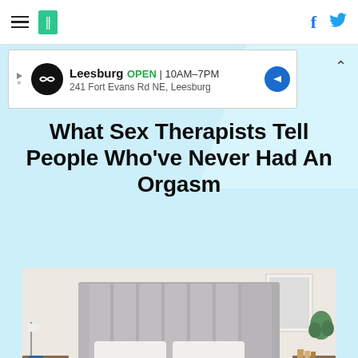HuffPost navigation with hamburger menu, logo, Facebook and Twitter icons
[Figure (screenshot): Ad banner: Leesburg OPEN 10AM–7PM, 241 Fort Evans Rd NE, Leesburg]
What Sex Therapists Tell People Who've Never Had An Orgasm
[Figure (photo): Bedroom photo showing a light teal/blue comforter on a bed with a gray upholstered headboard, white pillows, bedside tables with lamp, clock, books, and plant]
SHOPPING
The Highest-Rated Bedding At